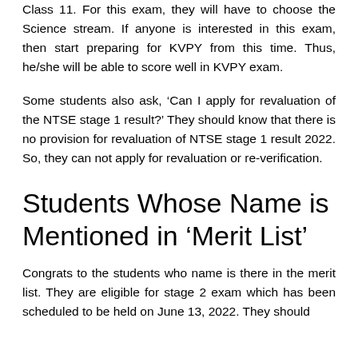Class 11. For this exam, they will have to choose the Science stream. If anyone is interested in this exam, then start preparing for KVPY from this time. Thus, he/she will be able to score well in KVPY exam.
Some students also ask, ‘Can I apply for revaluation of the NTSE stage 1 result?’ They should know that there is no provision for revaluation of NTSE stage 1 result 2022. So, they can not apply for revaluation or re-verification.
Students Whose Name is Mentioned in ‘Merit List’
Congrats to the students who name is there in the merit list. They are eligible for stage 2 exam which has been scheduled to be held on June 13, 2022. They should